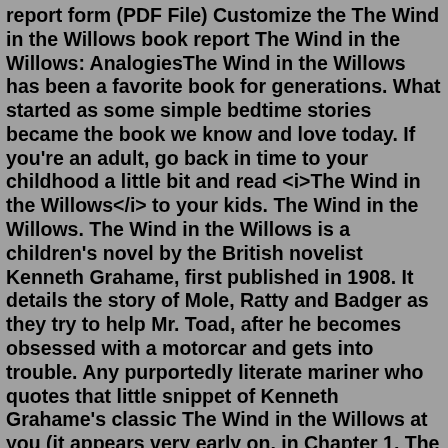report form (PDF File) Customize the The Wind in the Willows book report The Wind in the Willows: AnalogiesThe Wind in the Willows has been a favorite book for generations. What started as some simple bedtime stories became the book we know and love today. If you're an adult, go back in time to your childhood a little bit and read <i>The Wind in the Willows</i> to your kids. The Wind in the Willows. The Wind in the Willows is a children's novel by the British novelist Kenneth Grahame, first published in 1908. It details the story of Mole, Ratty and Badger as they try to help Mr. Toad, after he becomes obsessed with a motorcar and gets into trouble. Any purportedly literate mariner who quotes that little snippet of Kenneth Grahame's classic The Wind in the Willows at you (it appears very early on, in Chapter 1, The River Bank) ... Scour eBay and find yourself a copy of the "talking book" of Wind in the Willows read by Derek Jacobi on CD. Then when the tail lights in front turn red ...This item: The Wind in the Willows (Sterling Illustrated Classics) by Kenneth